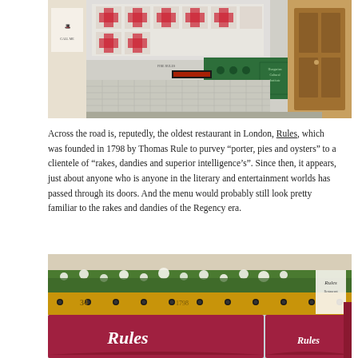[Figure (photo): Exterior of a building with decorative red and white tile pattern on the upper facade, green panels with text in the middle section, glass block windows on the lower facade, and a wooden door on the right side.]
Across the road is, reputedly, the oldest restaurant in London, Rules, which was founded in 1798 by Thomas Rule to purvey “porter, pies and oysters” to a clientele of “rakes, dandies and superior intelligence’s”. Since then, it appears, just about anyone who is anyone in the literary and entertainment worlds has passed through its doors. And the menu would probably still look pretty familiar to the rakes and dandies of the Regency era.
[Figure (photo): Exterior of Rules restaurant in London showing the distinctive red/maroon awnings with 'Rules' written in white cursive script, and flower boxes with greenery on the upper floor.]